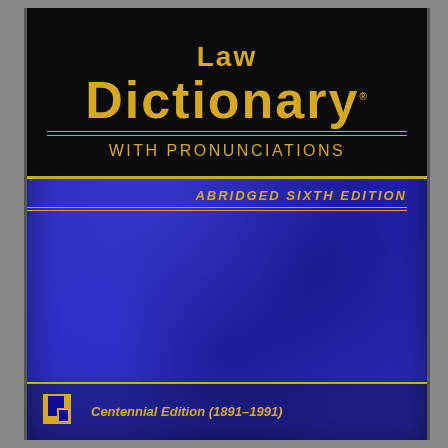[Figure (illustration): Book cover of Law Dictionary with Pronunciations, Abridged Sixth Edition, Centennial Edition (1891-1991). Dark blue marbled background with black title box at top containing gold text reading 'LAW DICTIONARY With Pronunciations', gold horizontal rules, text 'Abridged Sixth Edition' in gold italic at right, and publisher logo with 'Centennial Edition (1891-1991)' at bottom.]